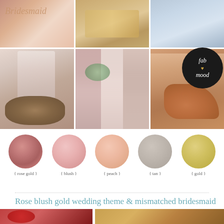[Figure (photo): Wedding mood board collage with 6 photos: top row shows calligraphy text, table setting with gold accents, and champagne glasses; bottom row shows Dior perfume bottle with vintage jewel earrings, mismatched bridesmaids in blush/tan/pink dresses holding bouquets, and glittery rose gold high heel shoes. Fab mood badge in top right corner.]
[Figure (infographic): Five color swatches in circles labeled: rose gold (metallic pink), blush (soft pink), peach (light orange-pink), tan (greige/taupe), gold (metallic yellow). Each labeled with curly brace style text.]
Rose blush gold wedding theme & mismatched bridesmaid
[Figure (photo): Two partial photos at bottom: left shows red roses arrangement, right shows warm golden-lit reception scene.]